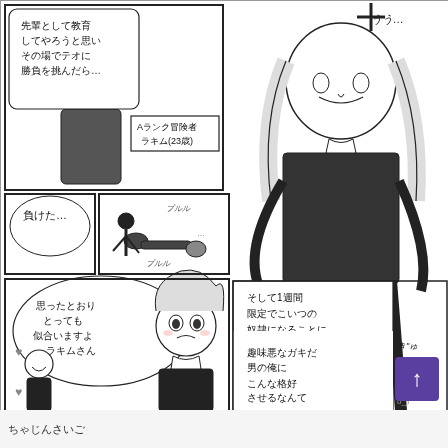[Figure (illustration): Manga comic page in black and white. Top panel: two characters — a smaller figure with Xs for eyes and speech bubble containing Japanese text '先輩として教育してやろうと思いその場でテオに勝負を挑んだら…', and a label box reading 'Aランク冒険者 ラキム(23歳)'. Large character with long light hair leaning forward. Sound effect 'うう…'. Middle left panel: speech bubble '負けた…' with small action scene showing trembling characters on the ground (sound 'プルプル'). Middle right panel: text box with Japanese narration '…そして1週間限定でこいつの奴隷になることになったんだが…' and '男の俺にこんな格好させるなんて趣味悪なガキだ'. Bottom left: speech bubble with '思ったとおり とっても似合いますよ ラキムさん'. Bottom right corner: purple scroll-to-top button with up arrow. Watermark 'o_ji'.]
ちゃじんさいご